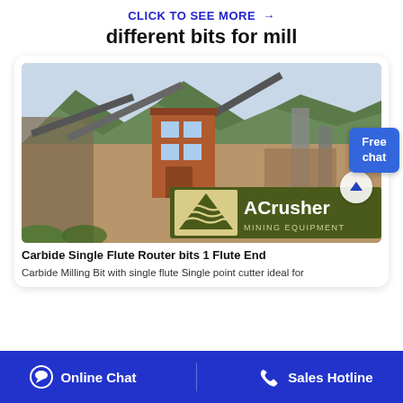CLICK TO SEE MORE →
different bits for mill
[Figure (photo): Mining equipment site photo with mountains in background, ACrusher Mining Equipment logo overlay, and an up-arrow button. Shows industrial stone crushing machinery, conveyor belts, and a brick building.]
Free chat
Carbide Single Flute Router bits 1 Flute End
Carbide Milling Bit with single flute Single point cutter ideal for
Online Chat
Sales Hotline